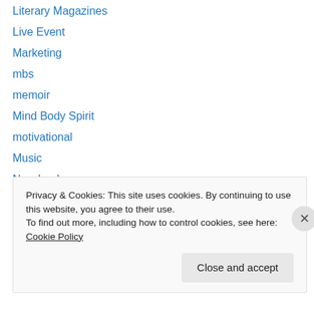Literary Magazines
Live Event
Marketing
mbs
memoir
Mind Body Spirit
motivational
Music
New books
New releases
nonfiction
Paying Market
poetry
Privacy & Cookies: This site uses cookies. By continuing to use this website, you agree to their use. To find out more, including how to control cookies, see here: Cookie Policy
Close and accept